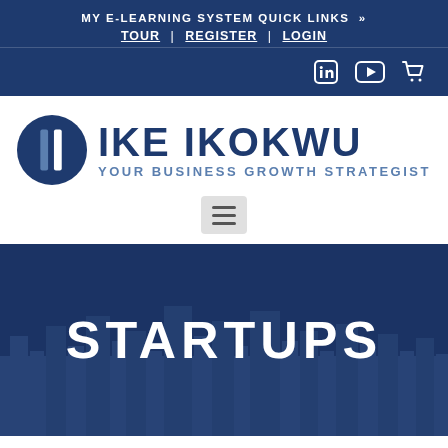MY E-LEARNING SYSTEM QUICK LINKS »
TOUR | REGISTER | LOGIN
[Figure (logo): Ike Ikokwu logo — circle with two vertical bars — and text 'IKE IKOKWU / YOUR BUSINESS GROWTH STRATEGIST']
STARTUPS